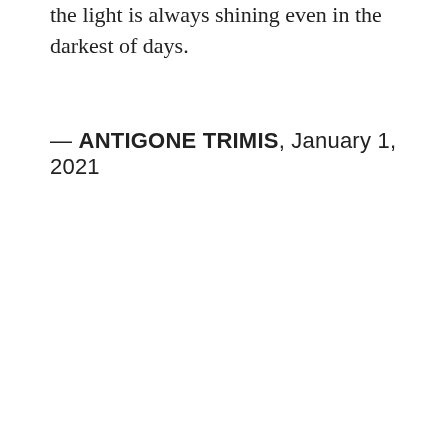the light is always shining even in the darkest of days.
— ANTIGONE TRIMIS, January 1, 2021
[Figure (screenshot): Light blue box with bold text 'WATCH NOW: Into the Light: A Tale of Home' followed by a YouTube video preview thumbnail for 'Into the Light: A Tale of Hope (Offi...' with a circular group thumbnail image and a three-dot menu icon on a dark background.]